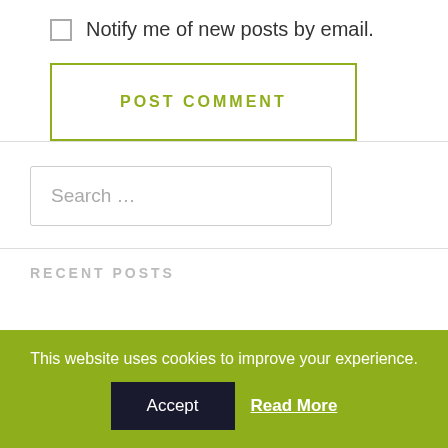Notify me of new posts by email.
POST COMMENT
Search …
RECENT POSTS
This website uses cookies to improve your experience.
Accept
Read More